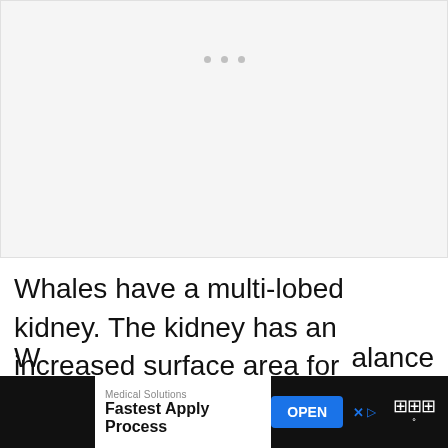[Figure (other): Blank/placeholder image area with three small grey dots near the top center, light grey background]
Whales have a multi-lobed kidney. The kidney has an increased surface area for removing toxins from the body more efficiently than a non-lobed kidney.
[Figure (other): Advertisement bar at bottom: Medical Solutions - Fastest Apply Process, with OPEN button]